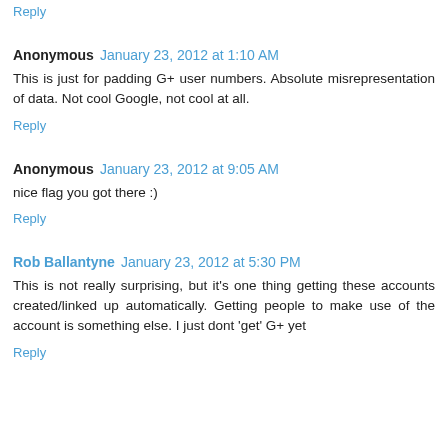Reply
Anonymous   January 23, 2012 at 1:10 AM
This is just for padding G+ user numbers. Absolute misrepresentation of data. Not cool Google, not cool at all.
Reply
Anonymous   January 23, 2012 at 9:05 AM
nice flag you got there :)
Reply
Rob Ballantyne   January 23, 2012 at 5:30 PM
This is not really surprising, but it's one thing getting these accounts created/linked up automatically. Getting people to make use of the account is something else. I just dont 'get' G+ yet
Reply